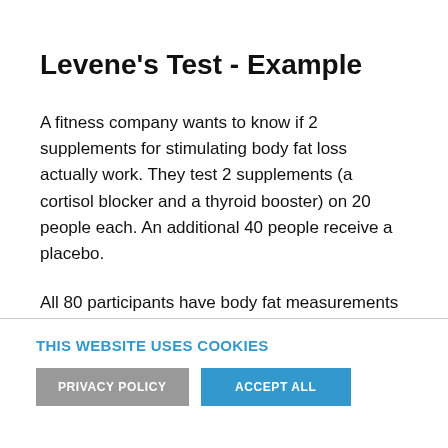Levene's Test - Example
A fitness company wants to know if 2 supplements for stimulating body fat loss actually work. They test 2 supplements (a cortisol blocker and a thyroid booster) on 20 people each. An additional 40 people receive a placebo.
All 80 participants have body fat measurements at the start of the experiment (week 11) and weeks 14, 17 and 20. This results in fatloss-unequal.sav, part of which is shown below.
THIS WEBSITE USES COOKIES
PRIVACY POLICY   ACCEPT ALL